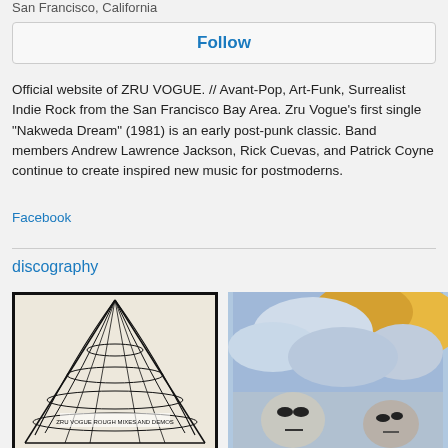San Francisco, California
Follow
Official website of ZRU VOGUE. // Avant-Pop, Art-Funk, Surrealist Indie Rock from the San Francisco Bay Area. Zru Vogue's first single "Nakweda Dream" (1981) is an early post-punk classic. Band members Andrew Lawrence Jackson, Rick Cuevas, and Patrick Coyne continue to create inspired new music for postmoderns.
Facebook
discography
[Figure (illustration): Album cover with black and white geometric triangular/sail shape drawing with text 'ZRU VOGUE ROUGH MIXES AND DEMOS']
[Figure (illustration): Album cover with colorful surrealist illustration showing two stone-faced figures against a sky with blue and yellow clouds]